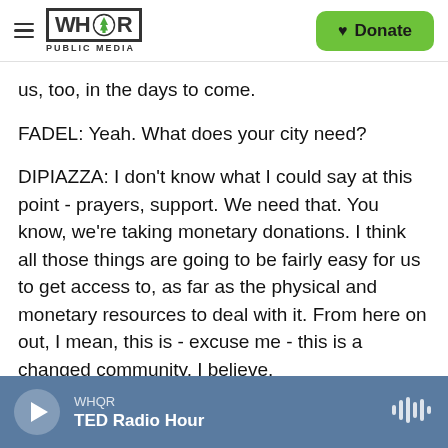WHQR PUBLIC MEDIA | Donate
us, too, in the days to come.
FADEL: Yeah. What does your city need?
DIPIAZZA: I don't know what I could say at this point - prayers, support. We need that. You know, we're taking monetary donations. I think all those things are going to be fairly easy for us to get access to, as far as the physical and monetary resources to deal with it. From here on out, I mean, this is - excuse me - this is a changed community, I believe.
WHQR | TED Radio Hour